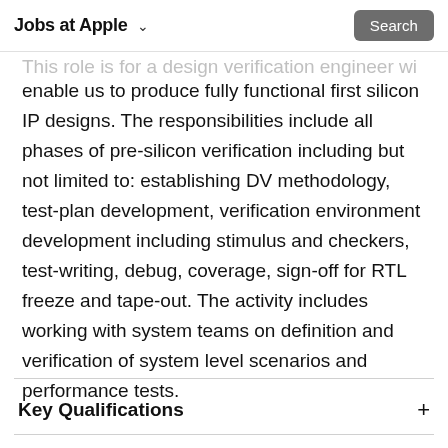Jobs at Apple  ∨  Search
This role is for a design verification engineer wh... enable us to produce fully functional first silicon IP designs. The responsibilities include all phases of pre-silicon verification including but not limited to: establishing DV methodology, test-plan development, verification environment development including stimulus and checkers, test-writing, debug, coverage, sign-off for RTL freeze and tape-out. The activity includes working with system teams on definition and verification of system level scenarios and performance tests.
Key Qualifications
Description